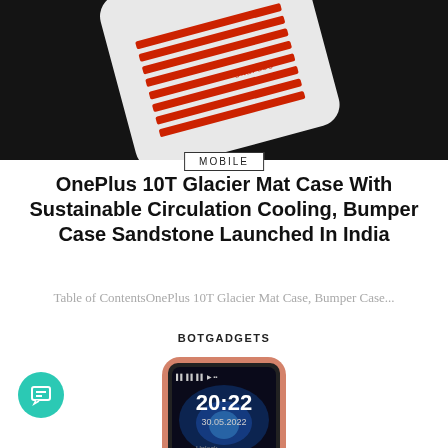[Figure (photo): Top portion of OnePlus 10T phone case with red and white grill pattern on dark background]
MOBILE
OnePlus 10T Glacier Mat Case With Sustainable Circulation Cooling, Bumper Case Sandstone Launched In India
Table of ContentsOnePlus 10T Glacier Mat Case, Bumper Case...
BOTGADGETS
[Figure (photo): Nokia feature phone in pink/rose gold color showing 20:22 time and 30.05.2022 date on display, with NOKIA branding and keypad visible]